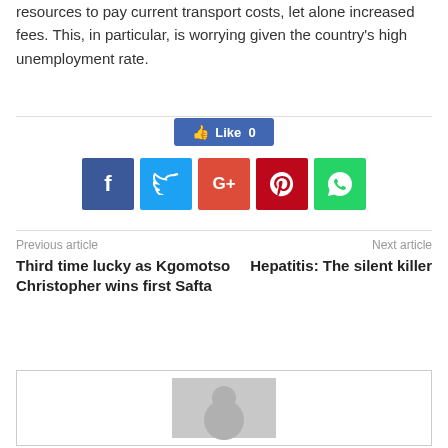resources to pay current transport costs, let alone increased fees. This, in particular, is worrying given the country's high unemployment rate.
[Figure (infographic): Social sharing buttons: Like 0 (Facebook blue), Facebook, Twitter, Google+, Pinterest, WhatsApp]
Previous article
Third time lucky as Kgomotso Christopher wins first Safta
Next article
Hepatitis: The silent killer
[Figure (photo): Avatar placeholder image with grey background showing silhouette of a person]